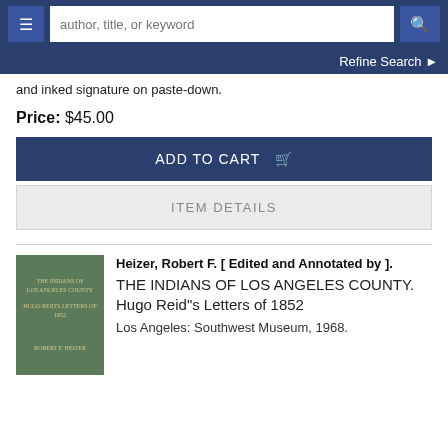[Figure (screenshot): Website navigation bar with hamburger menu, search input placeholder 'author, title, or keyword', and search button]
Refine Search ❯
and inked signature on paste-down.
Price: $45.00
ADD TO CART 🛒
ITEM DETAILS
[Figure (photo): Green book cover with title: THE INDIANS OF LOS ANGELES COUNTY, HUGO REID'S LETTERS OF 1852, ROBERT F. HEIZER]
Heizer, Robert F. [ Edited and Annotated by ]. THE INDIANS OF LOS ANGELES COUNTY. Hugo Reid''s Letters of 1852
Los Angeles: Southwest Museum, 1968.